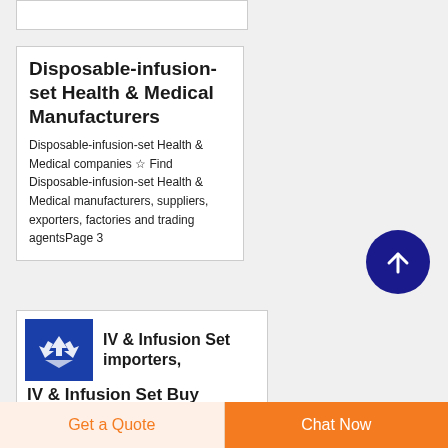Disposable-infusion-set Health & Medical Manufacturers
Disposable-infusion-set Health & Medical companies ☆ Find Disposable-infusion-set Health & Medical manufacturers, suppliers, exporters, factories and trading agentsPage 3
IV & Infusion Set importers, IV & Infusion Set Buy
[Figure (logo): Blue square logo with a stylized triple-arrow / recycling symbol in white]
Get a Quote
Chat Now